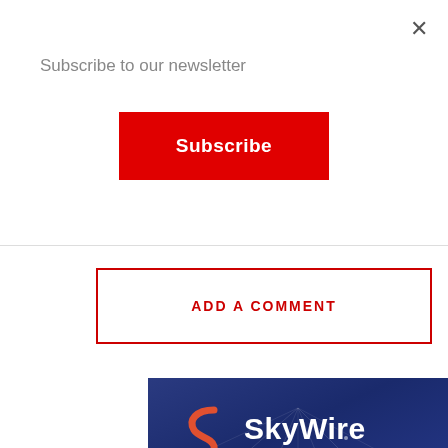×
Subscribe to our newsletter
Subscribe
ADD A COMMENT
[Figure (illustration): SkyWire advertisement banner with blue geometric background, SkyWire S-logo in red/orange, white text reading 'SkyWire' and 'SkyWire delivers bespoke, enterprise voice and connectivity solutions that will have you']